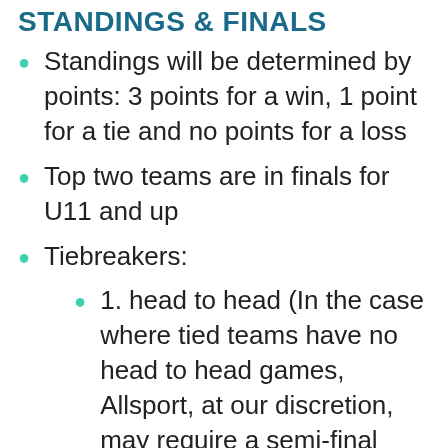STANDINGS & FINALS
Standings will be determined by points: 3 points for a win, 1 point for a tie and no points for a loss
Top two teams are in finals for U11 and up
Tiebreakers:
1. head to head (In the case where tied teams have no head to head games, Allsport, at our discretion, may require a semi-final game to determine a playoff spot)